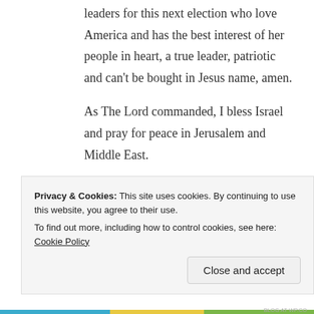leaders for this next election who love America and has the best interest of her people in heart, a true leader, patriotic and can't be bought in Jesus name, amen.
As The Lord commanded, I bless Israel and pray for peace in Jerusalem and Middle East.
Have a joyful day 🙂
Posted in Good   Leave a comment
Morning
Privacy & Cookies: This site uses cookies. By continuing to use this website, you agree to their use.
To find out more, including how to control cookies, see here: Cookie Policy